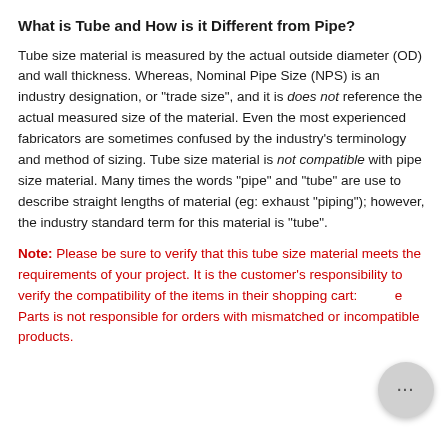What is Tube and How is it Different from Pipe?
Tube size material is measured by the actual outside diameter (OD) and wall thickness. Whereas, Nominal Pipe Size (NPS) is an industry designation, or "trade size", and it is does not reference the actual measured size of the material. Even the most experienced fabricators are sometimes confused by the industry's terminology and method of sizing. Tube size material is not compatible with pipe size material. Many times the words "pipe" and "tube" are use to describe straight lengths of material (eg: exhaust "piping"); however, the industry standard term for this material is "tube".
Note: Please be sure to verify that this tube size material meets the requirements of your project. It is the customer's responsibility to verify the compatibility of the items in their shopping cart. Trupply-Source Parts is not responsible for orders with mismatched or incompatible products.